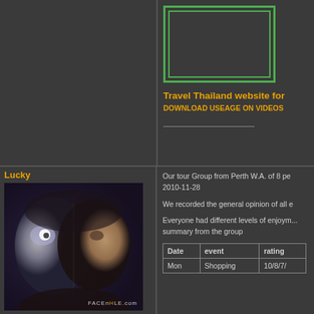[Figure (other): Green bordered box - advertisement or banner placeholder in top right area]
Travel Thailand website for
DOWNLOAD USEAGE ON VIDEOS
Lucky
[Figure (photo): Composite photo of a man's face merged with a Terminator robot face, from FACEnHOLE.com]
Our tour Group from Perth W.A. of 8 pe... 2010-11-28
We recorded the general opinion of all e...
Everyone had different levels of enjoyment... summary from the group
| Date | event | rating |
| --- | --- | --- |
| Mon | Shopping | 10/8/7/ |